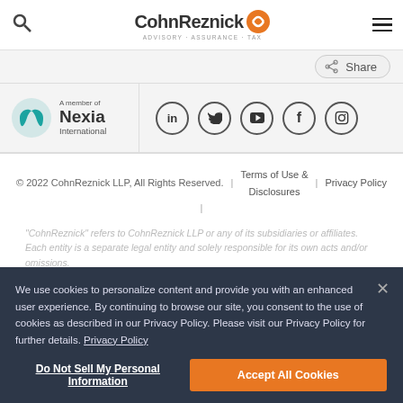CohnReznick - ADVISORY · ASSURANCE · TAX
Share
[Figure (logo): Nexia International member logo with teal circular icon]
Social media icons: LinkedIn, Twitter, YouTube, Facebook, Instagram
© 2022 CohnReznick LLP, All Rights Reserved.  |  Terms of Use & Disclosures  |  Privacy Policy  |
"CohnReznick" refers to CohnReznick LLP or any of its subsidiaries or affiliates. Each entity is a separate legal entity and solely responsible for its own acts and/or omissions.
We use cookies to personalize content and provide you with an enhanced user experience. By continuing to browse our site, you consent to the use of cookies as described in our Privacy Policy. Please visit our Privacy Policy for further details. Privacy Policy
Do Not Sell My Personal Information
Accept All Cookies